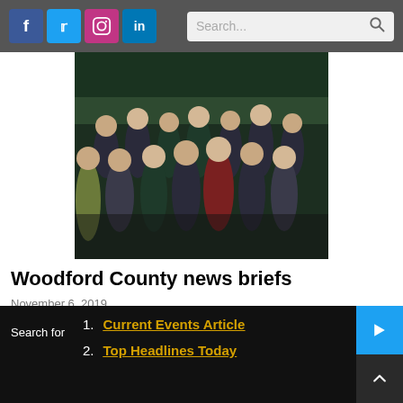Social media icons (f, Twitter, Instagram, in) and Search bar
[Figure (photo): Group photo of performers in dark uniforms with teal/green accents, standing together outdoors]
Woodford County news briefs
November 6, 2019
BLOOMINGTON The Four Italian Tenors to perform at BCPA For the first time in the United States, The Four Italian Tenors perform the greatest Tenor Arias and Songs of all time, in...
Search for 1. Current Events Article 2. Top Headlines Today